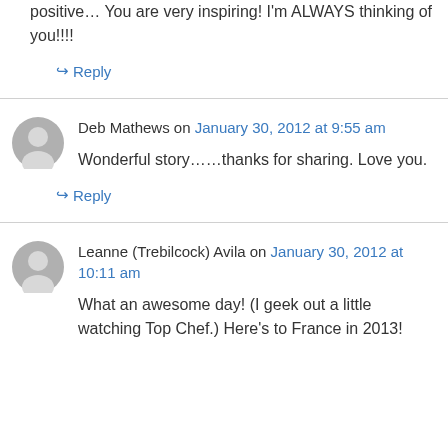positive… You are very inspiring! I'm ALWAYS thinking of you!!!!
↪ Reply
Deb Mathews on January 30, 2012 at 9:55 am
Wonderful story……thanks for sharing. Love you.
↪ Reply
Leanne (Trebilcock) Avila on January 30, 2012 at 10:11 am
What an awesome day! (I geek out a little watching Top Chef.) Here's to France in 2013!